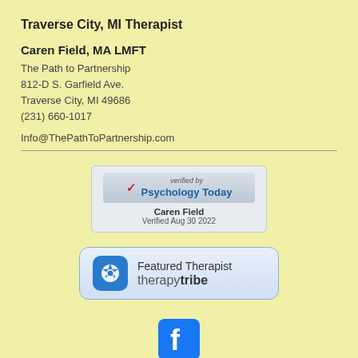Traverse City, MI Therapist
Caren Field, MA LMFT
The Path to Partnership
812-D S. Garfield Ave.
Traverse City, MI 49686
(231) 660-1017
Info@ThePathToPartnership.com
[Figure (logo): Psychology Today verified badge showing 'verified by Psychology Today' with a red checkmark, name Caren Field, Verified Aug 30 2022]
[Figure (logo): TherapyTribe Featured Therapist badge with blue icon and text 'Featured Therapist therapytribe']
[Figure (logo): Facebook icon - blue square with white f logo]